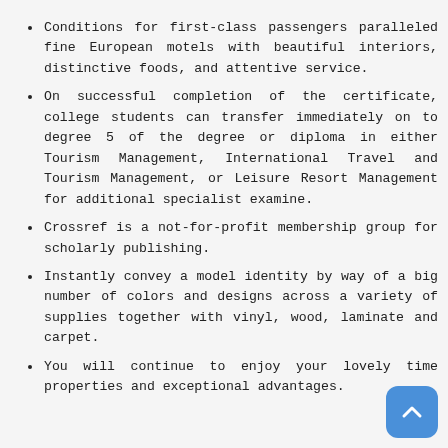Conditions for first-class passengers paralleled fine European motels with beautiful interiors, distinctive foods, and attentive service.
On successful completion of the certificate, college students can transfer immediately on to degree 5 of the degree or diploma in either Tourism Management, International Travel and Tourism Management, or Leisure Resort Management for additional specialist examine.
Crossref is a not-for-profit membership group for scholarly publishing.
Instantly convey a model identity by way of a big number of colors and designs across a variety of supplies together with vinyl, wood, laminate and carpet.
You will continue to enjoy your lovely time properties and exceptional advantages.